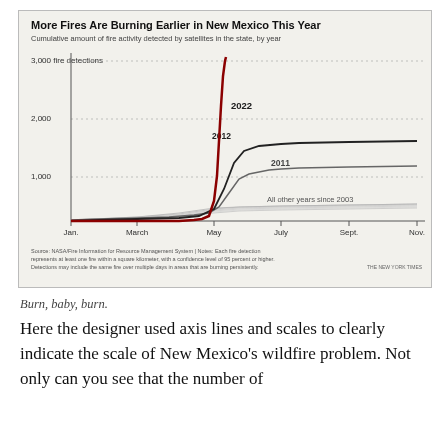[Figure (line-chart): Line chart showing cumulative fire detections in New Mexico by year. 2022 line rises sharply to over 3000 by May. 2012 and 2011 lines reach around 1000-1400. All other years since 2003 are clustered near the bottom.]
Burn, baby, burn.
Here the designer used axis lines and scales to clearly indicate the scale of New Mexico's wildfire problem. Not only can you see that the number of